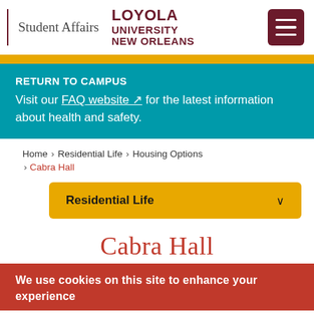Student Affairs | LOYOLA UNIVERSITY NEW ORLEANS
RETURN TO CAMPUS
Visit our FAQ website for the latest information about health and safety.
Home > Residential Life > Housing Options > Cabra Hall
Residential Life
Cabra Hall
We use cookies on this site to enhance your experience